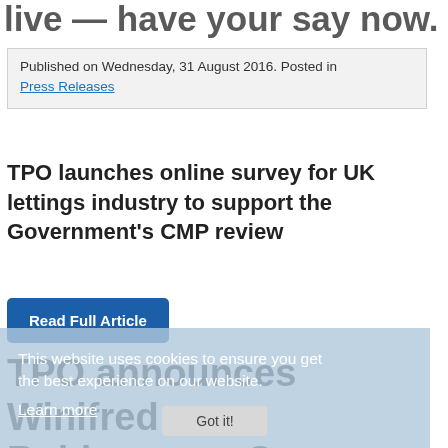live — have your say now.
Published on Wednesday, 31 August 2016. Posted in Press Releases
TPO launches online survey for UK lettings industry to support the Government's CMP review
Read Full Article
This website uses cookies to ensure you get the best experience on our website.
Learn more
Got it!
TPO announces Winifred Robinson as Consumer Panellist at 2016 Conference